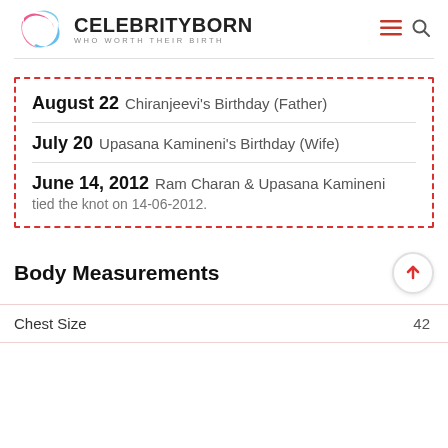CELEBRITYBORN WHO WORTH THEIR BIRTH
August 22 Chiranjeevi's Birthday (Father)
July 20 Upasana Kamineni's Birthday (Wife)
June 14, 2012 Ram Charan & Upasana Kamineni tied the knot on 14-06-2012.
Body Measurements
|  |  |
| --- | --- |
| Chest Size | 42 |